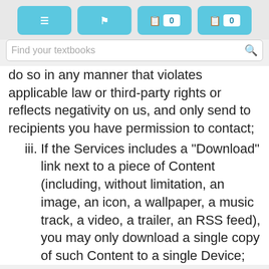[Figure (screenshot): Top navigation bar with four teal/blue rounded buttons. First button has a menu/hamburger icon. Second button has an icon. Third button has an icon and badge showing 0. Fourth button has an icon and badge showing 0.]
[Figure (screenshot): Search bar with placeholder text 'Find your textbooks' and a search icon on the right.]
do so in any manner that violates applicable law or third-party rights or reflects negativity on us, and only send to recipients you have permission to contact;
iii. If the Services includes a "Download" link next to a piece of Content (including, without limitation, an image, an icon, a wallpaper, a music track, a video, a trailer, an RSS feed), you may only download a single copy of such Content to a single Device;